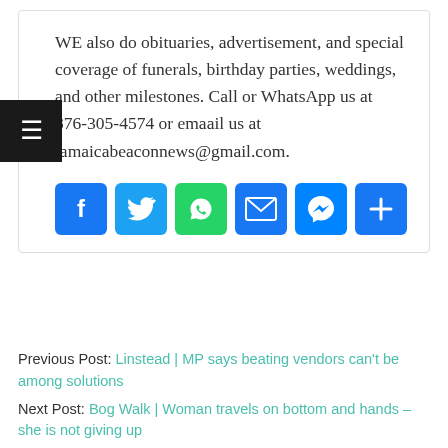WE also do obituaries, advertisement, and special coverage of funerals, birthday parties, weddings, and other milestones. Call or WhatsApp us at 876-305-4574 or emaail us at jamaicabeaconnews@gmail.com.
[Figure (infographic): Row of six social sharing icon buttons: Facebook (blue f), Twitter (blue bird), WhatsApp (green phone/chat), Email (blue envelope), Messenger (blue lightning bolt), and a blue share/plus button]
Previous Post: Linstead | MP says beating vendors can't be among solutions
Next Post: Bog Walk | Woman travels on bottom and hands – she is not giving up